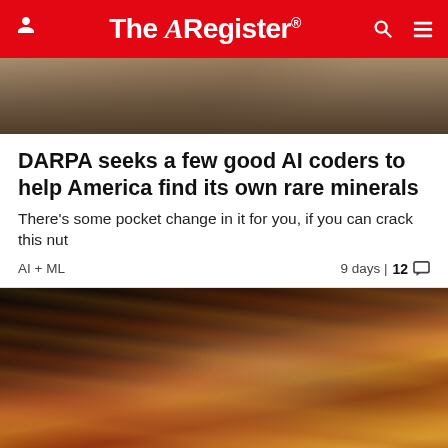The Register
[Figure (photo): Partial photo of a person, cropped at top of page]
DARPA seeks a few good AI coders to help America find its own rare minerals
There's some pocket change in it for you, if you can crack this nut
AI + ML    9 days | 12 comments
[Figure (photo): Close-up photo of cooked bacon strips with dark smoky background]